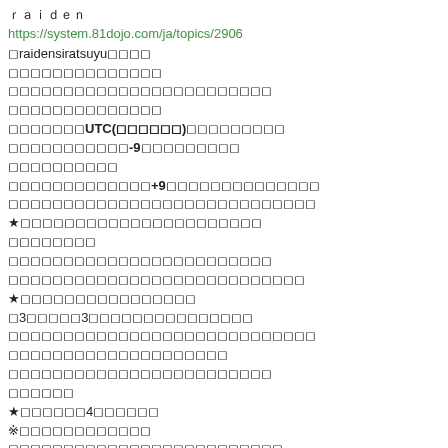ｒａｉｄｅｎ
https://system.81dojo.com/ja/topics/2906
◻raidensiratsuyu◻◻◻◻
◻◻◻◻◻◻◻◻◻◻◻◻◻◻
◻◻◻◻◻◻◻◻◻◻◻◻◻◻◻◻◻◻◻◻◻◻◻◻
◻◻◻◻◻◻◻◻◻◻◻◻◻◻
◻◻◻◻◻◻◻UTC(◻◻◻◻◻◻)◻◻◻◻◻◻◻◻◻
◻◻◻◻◻◻◻◻◻◻◻-9◻◻◻◻◻◻◻◻◻
◻◻◻◻◻◻◻◻◻◻
◻◻◻◻◻◻◻◻◻◻◻◻◻+9◻◻◻◻◻◻◻◻◻◻◻◻◻◻
◻◻◻◻◻◻◻◻◻◻◻◻◻◻◻◻◻◻◻◻◻◻◻◻◻◻◻◻
★◻◻◻◻◻◻◻◻◻◻◻◻◻◻◻◻◻◻◻◻◻◻
◻◻◻◻◻◻◻◻
◻◻◻◻◻◻◻◻◻◻◻◻◻◻◻◻◻◻◻◻◻◻◻◻
◻◻◻◻◻◻◻◻◻◻◻◻◻◻◻◻◻◻◻◻◻◻◻◻◻◻◻
★◻◻◻◻◻◻◻◻◻◻◻◻◻◻◻◻
◻3◻◻◻◻◻3◻◻◻◻◻◻◻◻◻◻◻◻◻◻◻
◻◻◻◻◻◻◻◻◻◻◻◻◻◻◻◻◻◻◻◻◻◻◻◻◻◻◻◻
◻◻◻◻◻◻◻◻◻◻◻◻◻◻◻◻◻◻◻◻
◻◻◻◻◻◻◻◻◻◻◻◻◻◻◻◻◻◻◻◻◻◻◻◻
◻◻◻◻◻◻
★◻◻◻◻◻◻4◻◻◻◻◻◻
※◻◻◻◻◻◻◻◻◻◻◻◻
◻◻◻◻◻◻◻◻◻◻◻◻◻◻◻◻◻◻◻◻◻◻◻◻◻
◻◻◻◻◻◻◻◻◻◻◻◻◻◻◻◻◻◻◻◻◻◻◻◻◻
◻◻◻◻◻◻◻◻◻◻◻◻◻◻◻◻◻◻◻MAX◻◻◻◻◻◻
◻◻◻◻◻◻
◻◻◻◻◻◻◻◻◻◻◻◻◻◻◻◻◻◻◻◻◻◻◻◻◻◻
◻◻◻